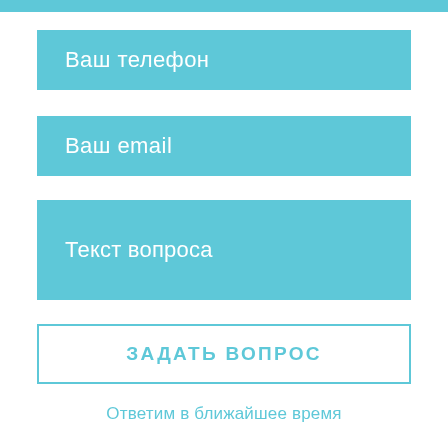Ваш телефон
Ваш email
Текст вопроса
ЗАДАТЬ ВОПРОС
Ответим в ближайшее время